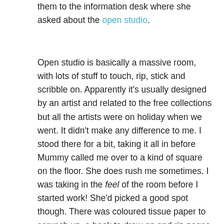them to the information desk where she asked about the open studio.
Open studio is basically a massive room, with lots of stuff to touch, rip, stick and scribble on. Apparently it's usually designed by an artist and related to the free collections but all the artists were on holiday when we went. It didn't make any difference to me. I stood there for a bit, taking it all in before Mummy called me over to a kind of square on the floor. She does rush me sometimes. I was taking in the feel of the room before I started work! She'd picked a good spot though. There was coloured tissue paper to scrunch up, a book to draw on and rip pages out of – yes really! Mummy wasn't very comfortable with that one… Sticky tape in all different colours and a lamp to work by. The lamp was very hot. I know, I touched it. Twice, just to be sure. When Mummy's friend turned up I played hide